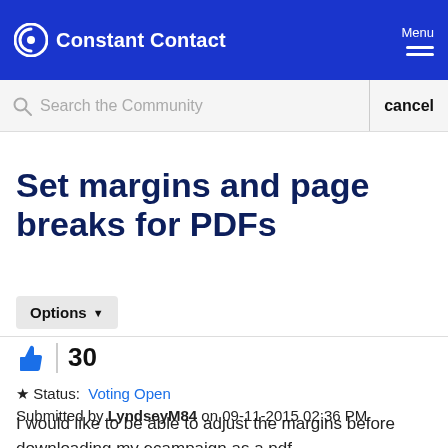Constant Contact
Search the Community   cancel
Set margins and page breaks for PDFs
Options
30
Status: Voting Open
Submitted by LyndseyM84 on 09-11-2015 02:36 PM
I would like to be able to adjust the margins before downloading my ecampaign as a pdf.